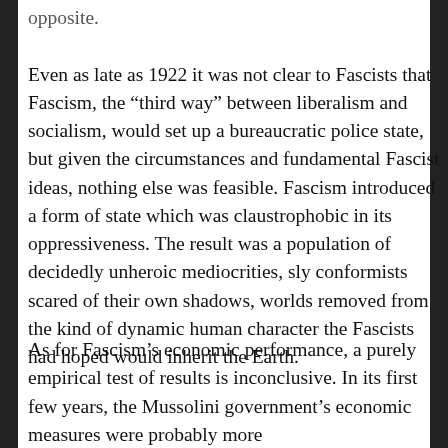opposite. Even as late as 1922 it was not clear to Fascists that Fascism, the “third way” between liberalism and socialism, would set up a bureaucratic police state, but given the circumstances and fundamental Fascist ideas, nothing else was feasible. Fascism introduced a form of state which was claustrophobic in its oppressiveness. The result was a population of decidedly unheroic mediocrities, sly conformists scared of their own shadows, worlds removed from the kind of dynamic human character the Fascists had hoped would inherit the Earth.
As for Fascism’s economic performance, a purely empirical test of results is inconclusive. In its first few years, the Mussolini government’s economic measures were probably more